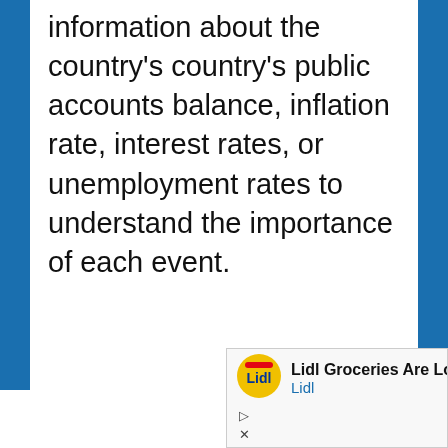information about the country's country's public accounts balance, inflation rate, interest rates, or unemployment rates to understand the importance of each event.
[Figure (other): Lidl advertisement banner showing Lidl logo and text 'Lidl Groceries Are Low-Pr' with brand name 'Lidl' in blue, and ad controls (play and close buttons)]